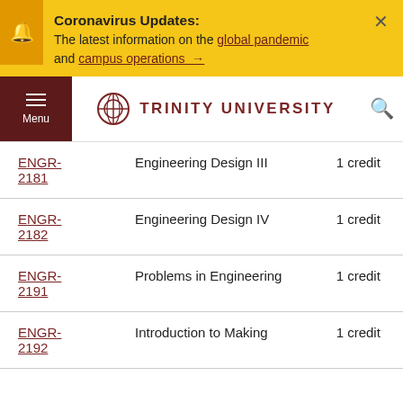Coronavirus Updates: The latest information on the global pandemic and campus operations →
[Figure (logo): Trinity University logo with circular icon and university name in maroon]
| Course | Title | Credits |
| --- | --- | --- |
| ENGR-2181 | Engineering Design III | 1 credit |
| ENGR-2182 | Engineering Design IV | 1 credit |
| ENGR-2191 | Problems in Engineering | 1 credit |
| ENGR-2192 | Introduction to Making | 1 credit |